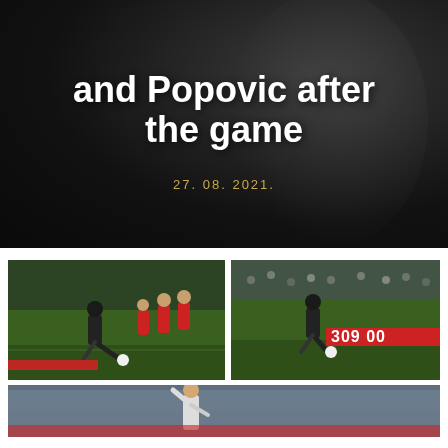and Popovic after the game
27. 08. 2021.
[Figure (photo): Soccer match action photo - player in dark kit shooting, opponents in red kits on green pitch]
[Figure (photo): Soccer match action photo - player in dark kit dribbling, red advertising board showing '309 00']
[Figure (photo): Soccer match photo - partial view of player with arm raised, crowd in background]